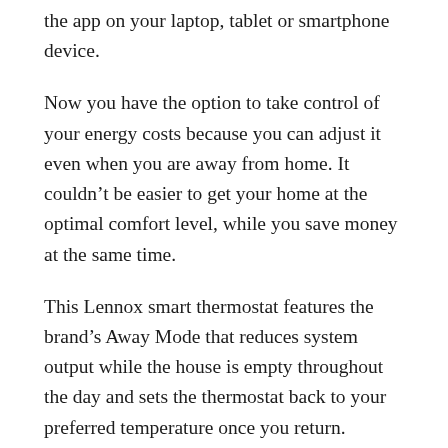the app on your laptop, tablet or smartphone device.
Now you have the option to take control of your energy costs because you can adjust it even when you are away from home. It couldn’t be easier to get your home at the optimal comfort level, while you save money at the same time.
This Lennox smart thermostat features the brand’s Away Mode that reduces system output while the house is empty throughout the day and sets the thermostat back to your preferred temperature once you return.
The iComfort Wi-Fi Digital Thermostat from Lennox is available on Amazon for $428.99.